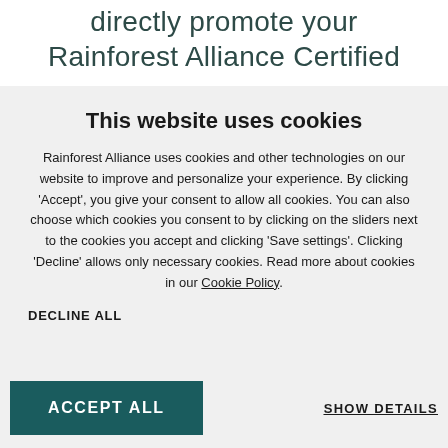directly promote your Rainforest Alliance Certified
This website uses cookies
Rainforest Alliance uses cookies and other technologies on our website to improve and personalize your experience. By clicking 'Accept', you give your consent to allow all cookies. You can also choose which cookies you consent to by clicking on the sliders next to the cookies you accept and clicking 'Save settings'. Clicking 'Decline' allows only necessary cookies. Read more about cookies in our Cookie Policy.
DECLINE ALL
ACCEPT ALL
SHOW DETAILS